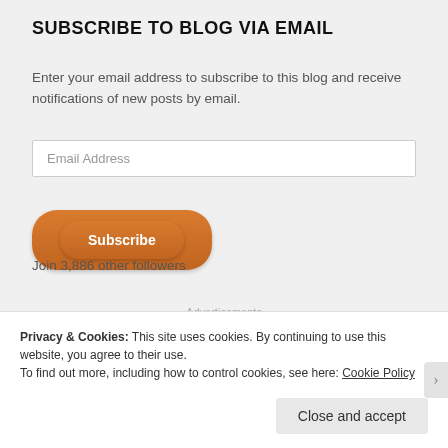SUBSCRIBE TO BLOG VIA EMAIL
Enter your email address to subscribe to this blog and receive notifications of new posts by email.
Email Address
Subscribe
Join 3,886 other followers
Advertisements
Privacy & Cookies: This site uses cookies. By continuing to use this website, you agree to their use. To find out more, including how to control cookies, see here: Cookie Policy
Close and accept